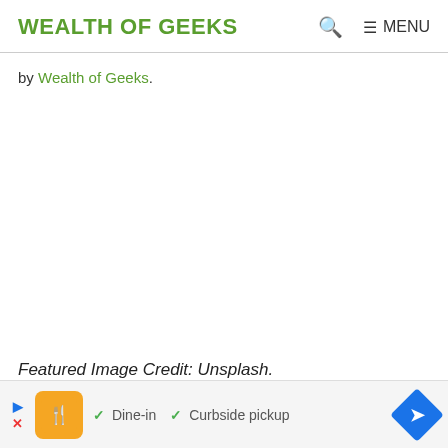WEALTH OF GEEKS
by Wealth of Geeks.
Featured Image Credit: Unsplash.
[Figure (other): Advertisement banner: orange restaurant logo with checkmarks for Dine-in and Curbside pickup, blue navigation arrow icon]